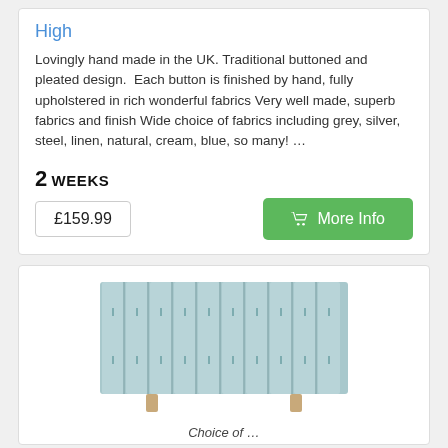High
Lovingly hand made in the UK. Traditional buttoned and pleated design.  Each button is finished by hand, fully upholstered in rich wonderful fabrics Very well made, superb fabrics and finish Wide choice of fabrics including grey, silver, steel, linen, natural, cream, blue, so many! …
2 WEEKS
£159.99
More Info
[Figure (photo): A light blue upholstered headboard with vertical pleated channel design and button tufting details, shown with wooden legs on white background.]
Choice of …